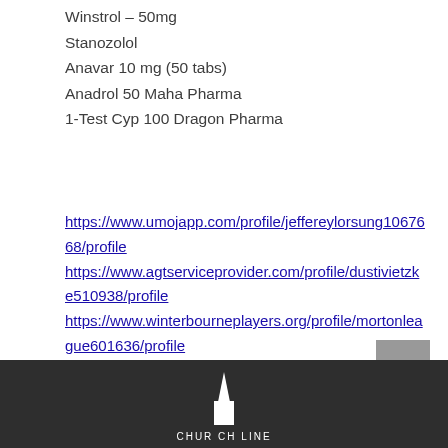Winstrol – 50mg
Stanozolol
Anavar 10 mg (50 tabs)
Anadrol 50 Maha Pharma
1-Test Cyp 100 Dragon Pharma
https://www.umojapp.com/profile/jeffereylorsung1067668/profile https://www.agtserviceprovider.com/profile/dustivietzke510938/profile https://www.winterbourneplayers.org/profile/mortonleague601636/profile https://www.zubriyut.com/profile/kevingallese198657/profile
[Figure (logo): Dark footer bar with white church/spire logo icon and partial text at the bottom of the page]